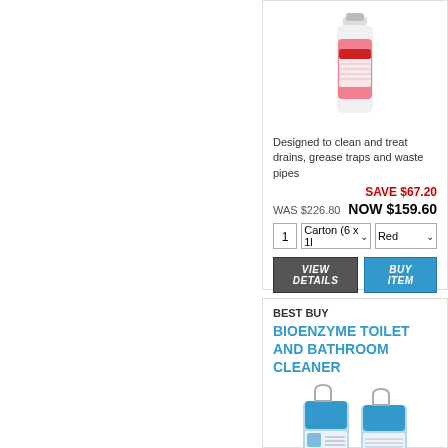[Figure (photo): Red/pink liquid cleaning product in a clear plastic bottle with red label]
Designed to clean and treat drains, grease traps and waste pipes
SAVE $67.20
WAS $226.80   NOW $159.60
1  Carton (6 x 1l  Red  VIEW DETAILS  BUY ITEM
BEST BUY
BIOENZYME TOILET AND BATHROOM CLEANER
[Figure (photo): Two blue 5-litre containers of Bioenzyme Toilet and Bathroom Cleaner]